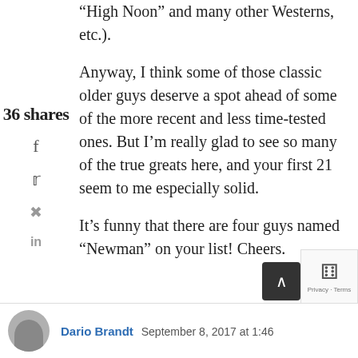“High Noon” and many other Westerns, etc.).
Anyway, I think some of those classic older guys deserve a spot ahead of some of the more recent and less time-tested ones. But I’m really glad to see so many of the true greats here, and your first 21 seem to me especially solid.
It’s funny that there are four guys named “Newman” on your list! Cheers.
36 shares
Dario Brandt  September 8, 2017 at 1:46